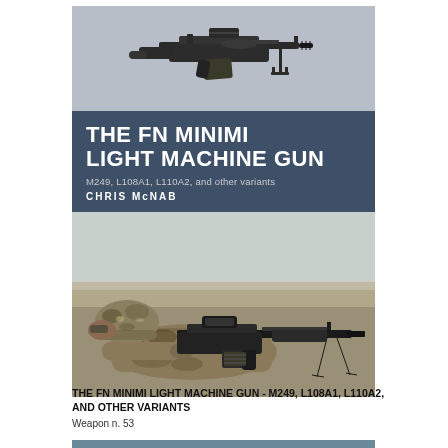[Figure (illustration): Book cover of 'The FN Minimi Light Machine Gun' by Chris McNab. Top section shows a gray background with a photograph/illustration of an FN Minimi light machine gun. Middle section is a dark blue-gray band with the title 'THE FN MINIMI LIGHT MACHINE GUN', subtitle 'M249, L108A1, L110A2, and other variants', and author 'CHRIS McNAB'. Bottom section shows a photograph of a soldier in desert camouflage uniform aiming the FN Minimi machine gun on a bipod in a desert setting.]
THE FN MINIMI LIGHT MACHINE GUN - M249, L108A1, L110A2, AND OTHER VARIANTS
Weapon n. 53